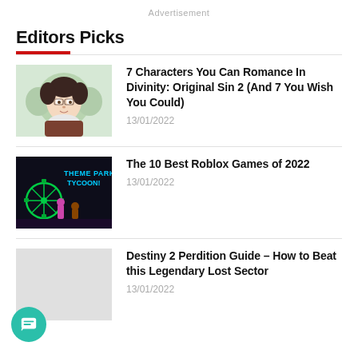Advertisement
Editors Picks
7 Characters You Can Romance In Divinity: Original Sin 2 (And 7 You Wish You Could)
The 10 Best Roblox Games of 2022
Destiny 2 Perdition Guide – How to Beat this Legendary Lost Sector